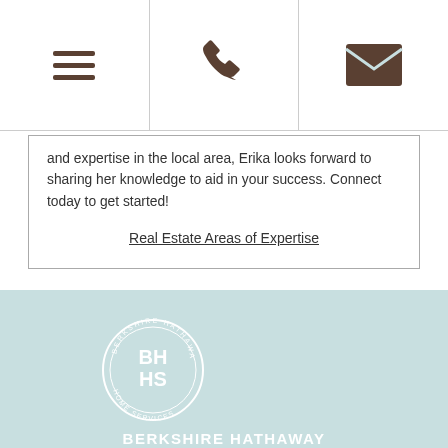[Figure (screenshot): Navigation bar with three cells: hamburger menu icon, phone icon, and envelope/email icon]
and expertise in the local area, Erika looks forward to sharing her knowledge to aid in your success. Connect today to get started!
Real Estate Areas of Expertise
[Figure (logo): Berkshire Hathaway HomeServices circular logo with BH HS letters, followed by BERKSHIRE HATHAWAY HomeServices text and York Simpson Underwood Realty]
©2016 An independently operated subsidiary of HomeServices of America, Inc., a Berkshire Hathaway affiliate, and a franchisee of BHH Affiliates, LLC. Berkshire Hathaway HomeServices and the